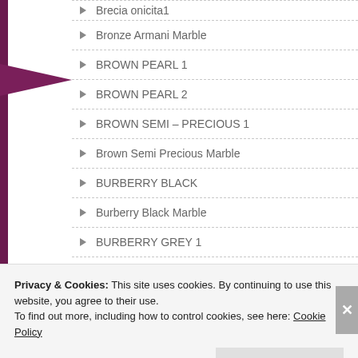Brecia onicita1
Bronze Armani Marble
BROWN PEARL 1
BROWN PEARL 2
BROWN SEMI – PRECIOUS 1
Brown Semi Precious Marble
BURBERRY BLACK
Burberry Black Marble
BURBERRY GREY 1
BURBERRY GREY 2
Privacy & Cookies: This site uses cookies. By continuing to use this website, you agree to their use.
To find out more, including how to control cookies, see here: Cookie Policy
Close and accept